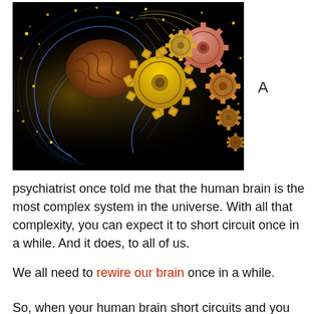[Figure (illustration): Digital illustration of a human head profile (blue wireframe outline) with a glowing brain visible inside, surrounded by golden light particles and sparks. To the right of the head, multiple interlocking mechanical gears of varying sizes in gold and copper tones emerge. Background is black.]
A
psychiatrist once told me that the human brain is the most complex system in the universe. With all that complexity, you can expect it to short circuit once in a while. And it does, to all of us.
We all need to rewire our brain once in a while.
So, when your human brain short circuits and you do...